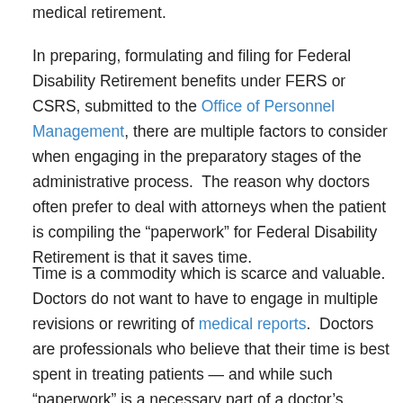medical retirement.
In preparing, formulating and filing for Federal Disability Retirement benefits under FERS or CSRS, submitted to the Office of Personnel Management, there are multiple factors to consider when engaging in the preparatory stages of the administrative process.  The reason why doctors often prefer to deal with attorneys when the patient is compiling the “paperwork” for Federal Disability Retirement is that it saves time.
Time is a commodity which is scarce and valuable.  Doctors do not want to have to engage in multiple revisions or rewriting of medical reports.  Doctors are professionals who believe that their time is best spent in treating patients — and while such “paperwork” is a necessary part of a doctor’s practice, and one which